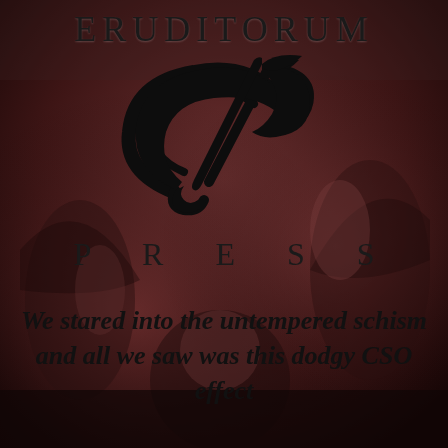[Figure (illustration): Background image of classical figures with reddish-dark overlay, angels or mythological beings in a landscape]
ERUDITORUM
[Figure (logo): Eruditorum Press stylized 'EP' logo in black calligraphic script]
P R E S S
We stared into the untempered schism and all we saw was this dodgy CSO effect